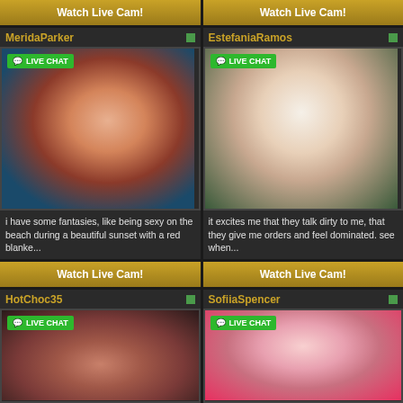Watch Live Cam!
Watch Live Cam!
MeridaParker
[Figure (photo): Red-haired woman in black lingerie posing on white fur with blue feather boa]
i have some fantasies, like being sexy on the beach during a beautiful sunset with a red blanke...
EstefaniaRamos
[Figure (photo): Dark-haired woman in white off-shoulder shirt outdoors]
it excites me that they talk dirty to me, that they give me orders and feel dominated. see when...
Watch Live Cam!
Watch Live Cam!
HotChoc35
[Figure (photo): Close-up photo]
SofiiaSpencer
[Figure (photo): Woman with dark hair in pink/floral setting]